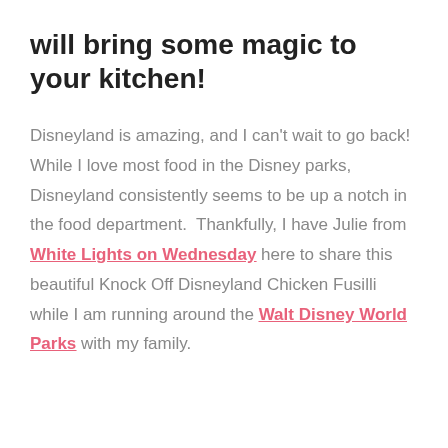will bring some magic to your kitchen!
Disneyland is amazing, and I can't wait to go back! While I love most food in the Disney parks, Disneyland consistently seems to be up a notch in the food department.  Thankfully, I have Julie from White Lights on Wednesday here to share this beautiful Knock Off Disneyland Chicken Fusilli while I am running around the Walt Disney World Parks with my family.